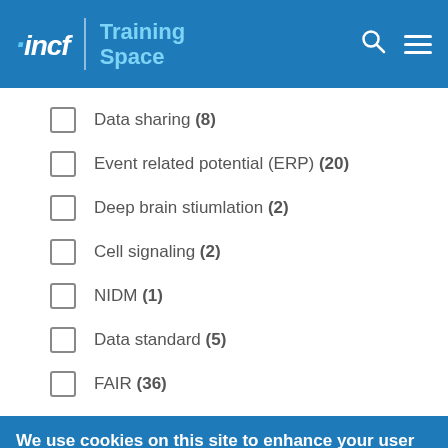incf | Training Space
Data sharing (8)
Event related potential (ERP) (20)
Deep brain stiumlation (2)
Cell signaling (2)
NIDM (1)
Data standard (5)
FAIR (36)
We use cookies on this site to enhance your user experience
By clicking any link or button on the website the visitor accepts the cookie policy. More info
Accept   No, thanks